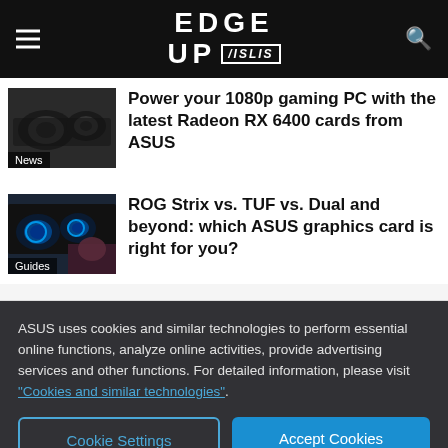EDGE UP ASUS
Power your 1080p gaming PC with the latest Radeon RX 6400 cards from ASUS
ROG Strix vs. TUF vs. Dual and beyond: which ASUS graphics card is right for you?
ASUS uses cookies and similar technologies to perform essential online functions, analyze online activities, provide advertising services and other functions. For detailed information, please visit "Cookies and similar technologies".